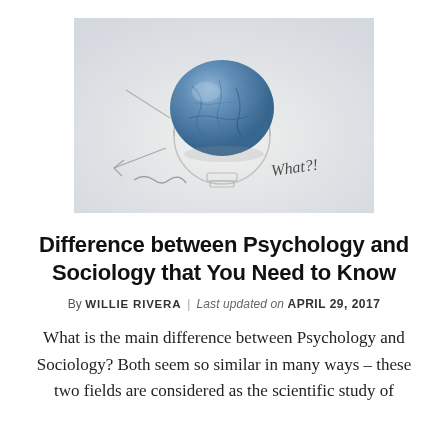[Figure (photo): A crumpled blue paper ball sitting on a hand-drawn light bulb sketch on white paper, with arrows and the text 'What?!' written around it.]
Difference between Psychology and Sociology that You Need to Know
By WILLIE RIVERA | Last updated on APRIL 29, 2017
What is the main difference between Psychology and Sociology? Both seem so similar in many ways – these two fields are considered as the scientific study of